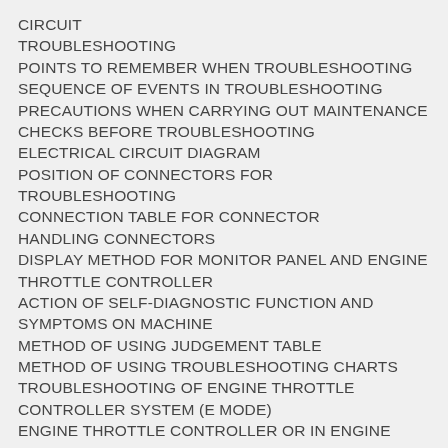CIRCUIT
TROUBLESHOOTING
POINTS TO REMEMBER WHEN TROUBLESHOOTING
SEQUENCE OF EVENTS IN TROUBLESHOOTING
PRECAUTIONS WHEN CARRYING OUT MAINTENANCE
CHECKS BEFORE TROUBLESHOOTING
ELECTRICAL CIRCUIT DIAGRAM
POSITION OF CONNECTORS FOR TROUBLESHOOTING
CONNECTION TABLE FOR CONNECTOR
HANDLING CONNECTORS
DISPLAY METHOD FOR MONITOR PANEL AND ENGINE THROTTLE CONTROLLER
ACTION OF SELF-DIAGNOSTIC FUNCTION AND SYMPTOMS ON MACHINE
METHOD OF USING JUDGEMENT TABLE
METHOD OF USING TROUBLESHOOTING CHARTS
TROUBLESHOOTING OF ENGINE THROTTLE CONTROLLER SYSTEM (E MODE)
ENGINE THROTTLE CONTROLLER OR IN ENGINE